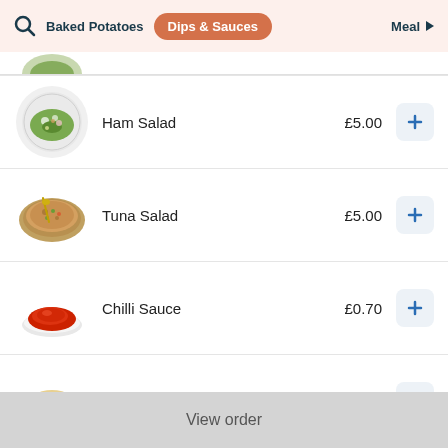Baked Potatoes | Dips & Sauces | Meal
[Figure (screenshot): Cropped food image at top of list]
Ham Salad — £5.00
Tuna Salad — £5.00
Chilli Sauce — £0.70
Garlic Mayo — £0.70
View order